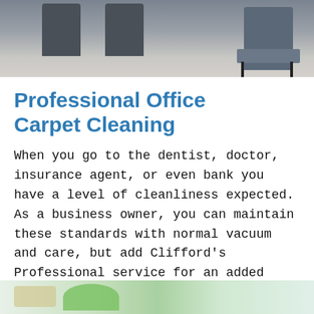[Figure (photo): Office waiting room with gray/blue upholstered chairs on carpet, viewed from above/side angle]
Professional Office Carpet Cleaning
When you go to the dentist, doctor, insurance agent, or even bank you have a level of cleanliness expected. As a business owner, you can maintain these standards with normal vacuum and care, but add Clifford's Professional service for an added cleanliness above just the vacuum.
[Figure (photo): Partial photo at bottom of page showing cleaning equipment or carpet cleaning in progress with green/natural tones]